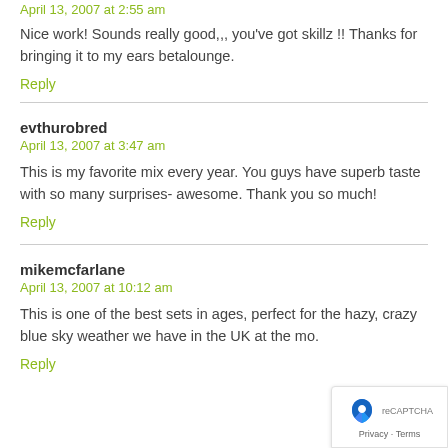April 13, 2007 at 2:55 am
Nice work! Sounds really good,,, you've got skillz !! Thanks for bringing it to my ears betalounge.
Reply
evthurobred
April 13, 2007 at 3:47 am
This is my favorite mix every year. You guys have superb taste with so many surprises- awesome. Thank you so much!
Reply
mikemcfarlane
April 13, 2007 at 10:12 am
This is one of the best sets in ages, perfect for the hazy, crazy blue sky weather we have in the UK at the mo.
Reply